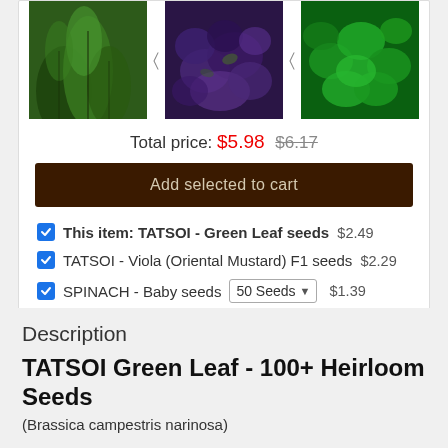[Figure (photo): Three product images: green leafy tatsoi, purple/dark tatsoi viola seeds, bright green spinach baby leaves, with navigation arrows between them]
Total price: $5.98  $6.17
Add selected to cart
This item: TATSOI - Green Leaf seeds  $2.49
TATSOI - Viola (Oriental Mustard) F1 seeds  $2.29
SPINACH - Baby seeds  50 Seeds  $1.39
Description
TATSOI Green Leaf - 100+ Heirloom Seeds
(Brassica campestris narinosa)